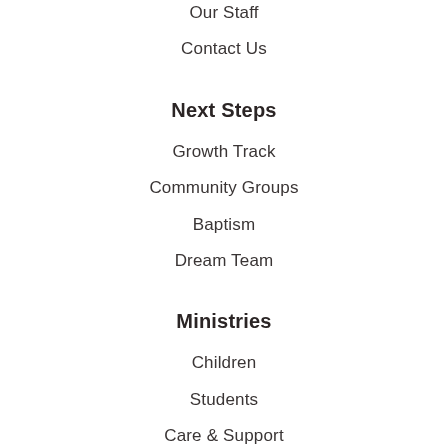Our Staff
Contact Us
Next Steps
Growth Track
Community Groups
Baptism
Dream Team
Ministries
Children
Students
Care & Support
Men
Women